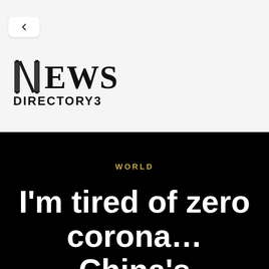[Figure (logo): News Directory3 website logo with stylized N column icon followed by EWS in bold serif font and DIRECTORY3 in bold sans-serif below]
WORLD
I'm tired of zero corona… China's